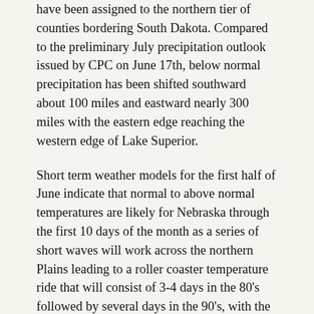have been assigned to the northern tier of counties bordering South Dakota. Compared to the preliminary July precipitation outlook issued by CPC on June 17th, below normal precipitation has been shifted southward about 100 miles and eastward nearly 300 miles with the eastern edge reaching the western edge of Lake Superior.
Short term weather models for the first half of June indicate that normal to above normal temperatures are likely for Nebraska through the first 10 days of the month as a series of short waves will work across the northern Plains leading to a roller coaster temperature ride that will consist of 3-4 days in the 80's followed by several days in the 90's, with the cycle repeating through mid-month. The GFS model indicates that upper 90's to low 100's may develop July 15-18 across the western half of the state and widespread precipitation chances will be limited to July 5-6. Isolated summertime convection is possible, but will be insufficient in producing normal precipitation according to the GFS model. There is some evidence that a return to normal